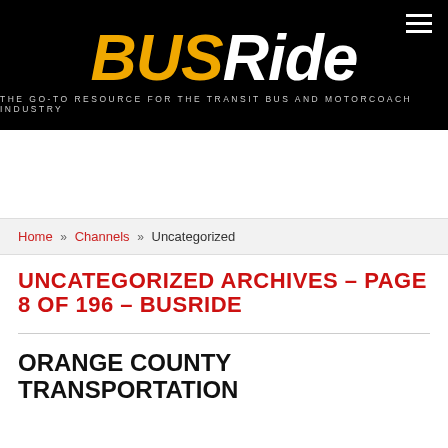BUSRide — THE GO-TO RESOURCE FOR THE TRANSIT BUS AND MOTORCOACH INDUSTRY
Home » Channels » Uncategorized
UNCATEGORIZED ARCHIVES – PAGE 8 OF 196 – BUSRIDE
ORANGE COUNTY TRANSPORTATION